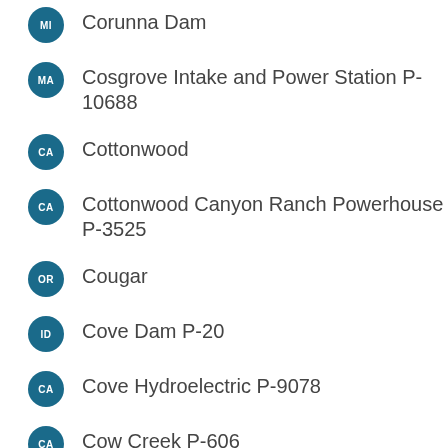MI — Corunna Dam
MA — Cosgrove Intake and Power Station P-10688
CA — Cottonwood
CA — Cottonwood Canyon Ranch Powerhouse P-3525
OR — Cougar
ID — Cove Dam P-20
CA — Cove Hydroelectric P-9078
CA — Cow Creek P-606
NC — Cowans Ford P-2232